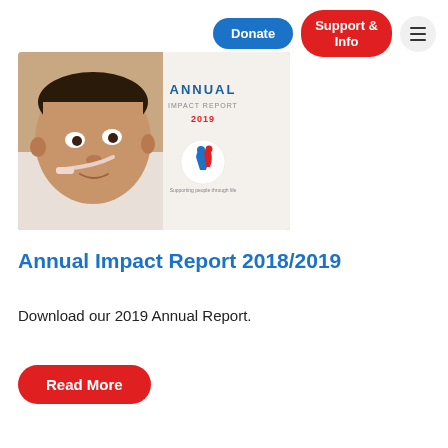Donate | Support & Info | Menu
[Figure (photo): Cover of Annual Impact Report 2018/2019 showing a baby with a nasal feeding tube, with the text 'ANNUAL IMPACT REPORT 2019' and PeachKids logo]
Annual Impact Report 2018/2019
Download our 2019 Annual Report.
Read More